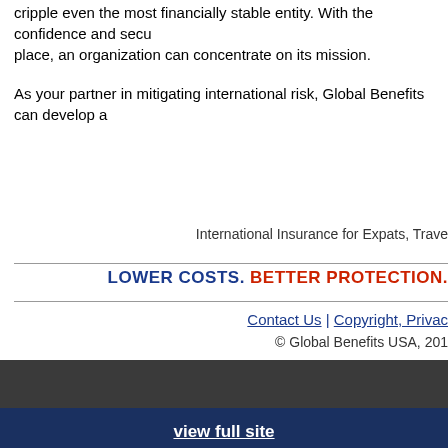cripple even the most financially stable entity. With the confidence and security in place, an organization can concentrate on its mission.
As your partner in mitigating international risk, Global Benefits can develop a
International Insurance for Expats, Trave
LOWER COSTS. BETTER PROTECTION.
Contact Us | Copyright, Privacy
© Global Benefits USA, 201
view full site